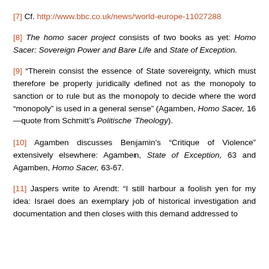[7] Cf. http://www.bbc.co.uk/news/world-europe-11027288
[8] The homo sacer project consists of two books as yet: Homo Sacer: Sovereign Power and Bare Life and State of Exception.
[9] “Therein consist the essence of State sovereignty, which must therefore be properly juridically defined not as the monopoly to sanction or to rule but as the monopoly to decide where the word “monopoly” is used in a general sense” (Agamben, Homo Sacer, 16—quote from Schmitt’s Politische Theology).
[10] Agamben discusses Benjamin’s “Critique of Violence” extensively elsewhere: Agamben, State of Exception, 63 and Agamben, Homo Sacer, 63-67.
[11] Jaspers write to Arendt: “I still harbour a foolish yen for my idea: Israel does an exemplary job of historical investigation and documentation and then closes with this demand addressed to